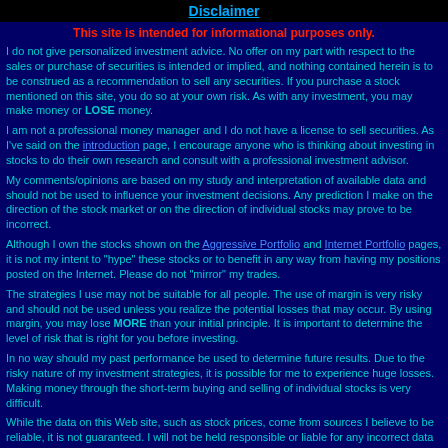Disclaimer
This site is intended for informational purposes only.
I do not give personalized investment advice. No offer on my part with respect to the sales or purchase of securities is intended or implied, and nothing contained herein is to be construed as a recommendation to sell any securities. If you purchase a stock mentioned on this site, you do so at your own risk. As with any investment, you may make money or LOSE money.
I am not a professional money manager and I do not have a license to sell securities. As I've said on the introduction page, I encourage anyone who is thinking about investing in stocks to do their own research and consult with a professional investment advisor.
My comments/opinions are based on my study and interpretation of available data and should not be used to influence your investment decisions. Any prediction I make on the direction of the stock market or on the direction of individual stocks may prove to be incorrect.
Although I own the stocks shown on the Aggressive Portfolio and Internet Portfolio pages, it is not my intent to "hype" these stocks or to benefit in any way from having my positions posted on the Internet. Please do not "mirror" my trades.
The strategies I use may not be suitable for all people. The use of margin is very risky and should not be used unless you realize the potential losses that may occur. By using margin, you may lose MORE than your initial principle. It is important to determine the level of risk that is right for you before investing.
In no way should my past performance be used to determine future results. Due to the risky nature of my investment strategies, it is possible for me to experience huge losses. Making money through the short-term buying and selling of individual stocks is very difficult.
While the data on this Web site, such as stock prices, come from sources I believe to be reliable, it is not guaranteed. I will not be held responsible or liable for any incorrect data contained herein, nor will I be held responsible or liable for any damages that may occur as a result of any erroneous data. Tables may contain errors or omissions as a result of the data input process. Please refer to other investment resources to verify the accuracy of the data posted on this site.